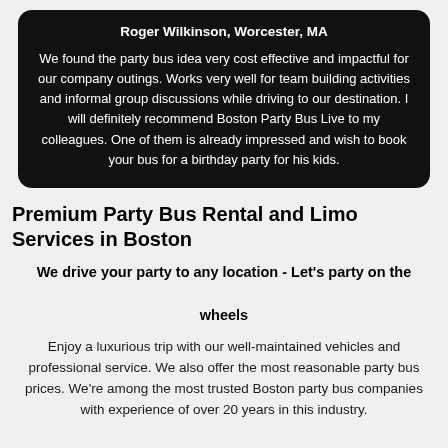Roger Wilkinson, Worcester, MA
We found the party bus idea very cost effective and impactful for our company outings. Works very well for team building activities and informal group discussions while driving to our destination. I will definitely recommend Boston Party Bus Live to my colleagues. One of them is already impressed and wish to book your bus for a birthday party for his kids.
Premium Party Bus Rental and Limo Services in Boston
We drive your party to any location - Let's party on the wheels
Enjoy a luxurious trip with our well-maintained vehicles and professional service. We also offer the most reasonable party bus prices. We're among the most trusted Boston party bus companies with experience of over 20 years in this industry.